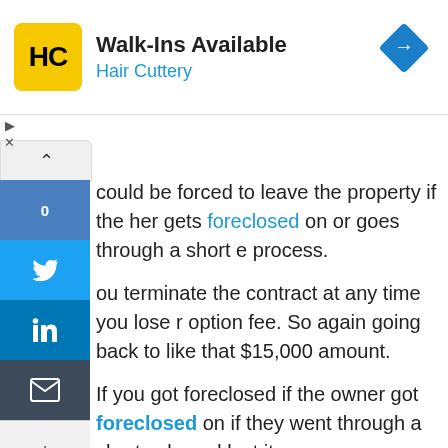[Figure (infographic): Hair Cuttery advertisement banner with yellow logo showing HC letters, text 'Walk-Ins Available' and 'Hair Cuttery' in blue, and a blue diamond direction sign on the right]
could be forced to leave the property if the her gets foreclosed on or goes through a short e process.
ou terminate the contract at any time you lose r option fee. So again going back to like that $15,000 amount.
If you got foreclosed if the owner got foreclosed on if they went through a short sale and lost it.